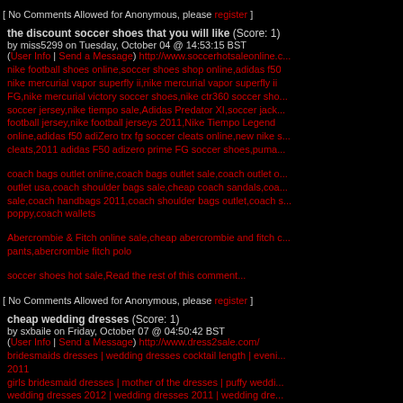[ No Comments Allowed for Anonymous, please register ]
the discount soccer shoes that you will like (Score: 1)
by miss5299 on Tuesday, October 04 @ 14:53:15 BST
(User Info | Send a Message) http://www.soccerhotsaleonline.c...
nike football shoes online,soccer shoes shop online,adidas f50,nike mercurial vapor superfly ii,nike mercurial vapor superfly ii FG,nike mercurial victory soccer shoes,nike ctr360 soccer shoes,soccer jersey,nike tiempo sale,Adidas Predator XI,soccer jacket,football jersey,nike football jerseys 2011,Nike Tiempo Legend online,adidas f50 adiZero trx fg soccer cleats online,new nike soccer cleats,2011 adidas F50 adizero prime FG soccer shoes,puma...
coach bags outlet online,coach bags outlet sale,coach outlet online,coach outlet usa,coach shoulder bags sale,cheap coach sandals,coach bags sale,coach handbags 2011,coach shoulder bags outlet,coach poppy,coach wallets
Abercrombie & Fitch online sale,cheap abercrombie and fitch clothes,abercrombie fitch pants,abercrombie fitch polo
soccer shoes hot sale,Read the rest of this comment...
[ No Comments Allowed for Anonymous, please register ]
cheap wedding dresses (Score: 1)
by sxbaile on Friday, October 07 @ 04:50:42 BST
(User Info | Send a Message) http://www.dress2sale.com/
bridesmaids dresses | wedding dresses cocktail length | evening dresses 2011
girls bridesmaid dresses | mother of the dresses | puffy wedding dresses
wedding dresses 2012 | wedding dresses 2011 | wedding dresses...